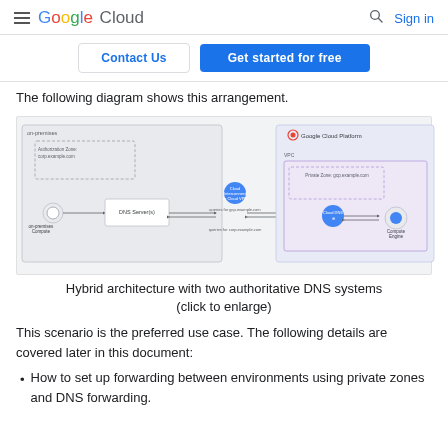Google Cloud  [search] Sign in
Contact Us | Get started for free
The following diagram shows this arrangement.
[Figure (engineering-diagram): Hybrid architecture diagram with two authoritative DNS systems. Shows on-premises compute connecting to DNS Server(s), then via Cloud Interconnect or Cloud VPN to Google Cloud Platform VPC with Private Zone, Cloud DNS, and Compute Engine.]
Hybrid architecture with two authoritative DNS systems (click to enlarge)
This scenario is the preferred use case. The following details are covered later in this document:
How to set up forwarding between environments using private zones and DNS forwarding.